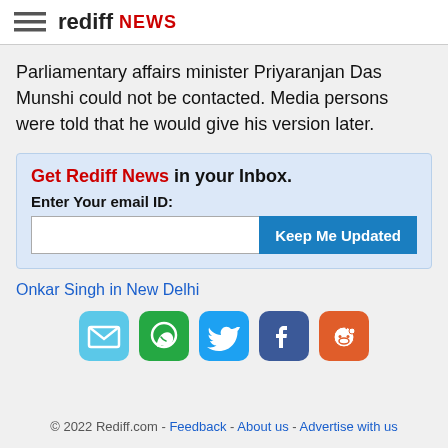rediff NEWS
Parliamentary affairs minister Priyaranjan Das Munshi could not be contacted. Media persons were told that he would give his version later.
Get Rediff News in your Inbox. Enter Your email ID: [Keep Me Updated]
Onkar Singh in New Delhi
[Figure (infographic): Row of social sharing icons: email (light blue), WhatsApp (green), Twitter (blue), Facebook (dark blue), Reddit (orange-red)]
© 2022 Rediff.com - Feedback - About us - Advertise with us